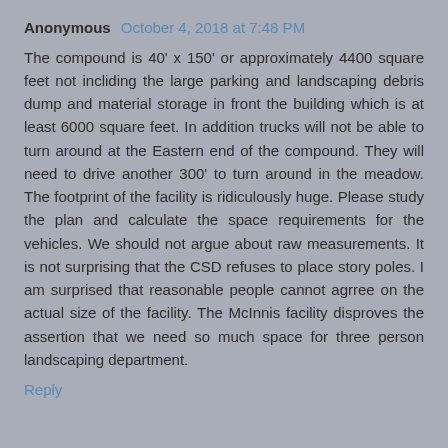Anonymous October 4, 2018 at 7:48 PM
The compound is 40' x 150' or approximately 4400 square feet not incliding the large parking and landscaping debris dump and material storage in front the building which is at least 6000 square feet. In addition trucks will not be able to turn around at the Eastern end of the compound. They will need to drive another 300' to turn around in the meadow. The footprint of the facility is ridiculously huge. Please study the plan and calculate the space requirements for the vehicles. We should not argue about raw measurements. It is not surprising that the CSD refuses to place story poles. I am surprised that reasonable people cannot agrree on the actual size of the facility. The McInnis facility disproves the assertion that we need so much space for three person landscaping department.
Reply
Anonymous October 5, 2018 at 8:55 PM
The measurements are the whole point. The new facility is